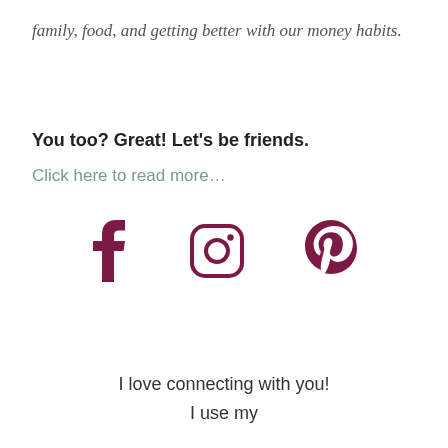family, food, and getting better with our money habits.
You too? Great! Let's be friends.
Click here to read more...
[Figure (infographic): Three social media icons: Facebook (f), Instagram (circle with camera), Pinterest (P) — all in dark magenta/burgundy color]
I love connecting with you!
I use my